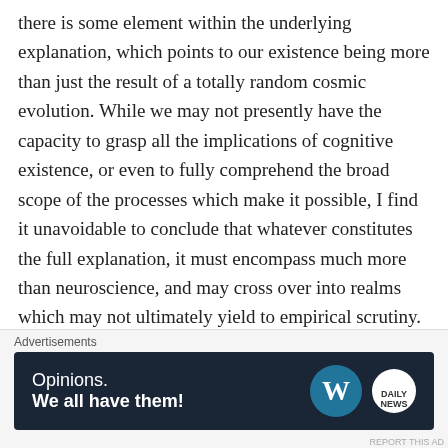there is some element within the underlying explanation, which points to our existence being more than just the result of a totally random cosmic evolution. While we may not presently have the capacity to grasp all the implications of cognitive existence, or even to fully comprehend the broad scope of the processes which make it possible, I find it unavoidable to conclude that whatever constitutes the full explanation, it must encompass much more than neuroscience, and may cross over into realms which may not ultimately yield to empirical scrutiny.
[Figure (other): Thumbs up icon followed by partially visible 'Liked by 2 people' text in blue]
Advertisements
[Figure (screenshot): Advertisement banner with dark background reading 'Opinions. We all have them!' with WordPress and another logo on the right]